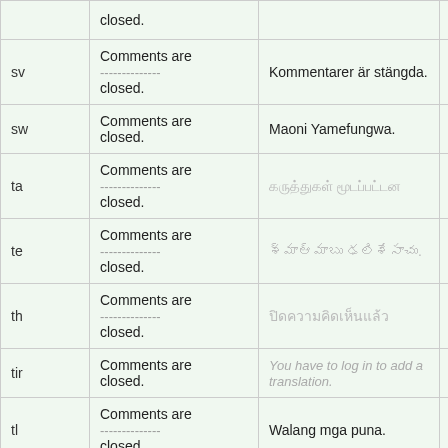| lang | source | translation | action |
| --- | --- | --- | --- |
| sv | Comments are
-------------- 
closed. | Kommentarer är stängda. | Details |
| sw | Comments are
closed. | Maoni Yamefungwa. | Details |
| ta | Comments are
--------------
closed. | କରୁତ்துகள் ମூடப்பட்டன | Details |
| te | Comments are
--------------
closed. | వ్యాఖ్యానాలు మూసివేసారు. | Details |
| th | Comments are
--------------
closed. | ปิดความคิดเห็นแล้ว | Details |
| tir | Comments are
closed. | You have to log in to add a translation. | Details |
| tl | Comments are
--------------
closed. | Walang mga puna. | Details |
| tl2 | Comments are | You have to log in | Details |